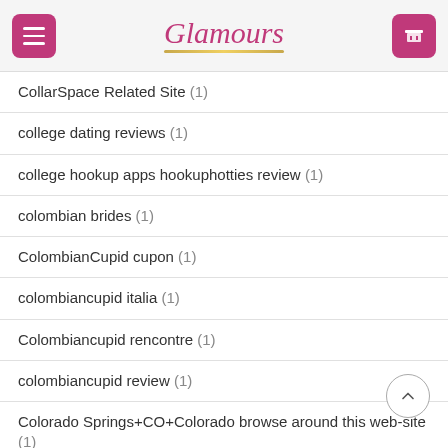Glamours
CollarSpace Related Site (1)
college dating reviews (1)
college hookup apps hookuphotties review (1)
colombian brides (1)
ColombianCupid cupon (1)
colombiancupid italia (1)
Colombiancupid rencontre (1)
colombiancupid review (1)
Colorado Springs+CO+Colorado browse around this web-site (1)